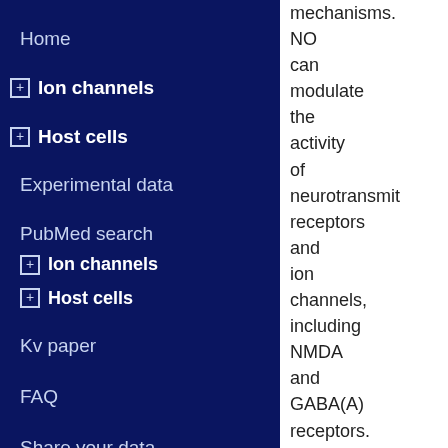Home
⊞ Ion channels
⊞ Host cells
Experimental data
PubMed search
⊞ Ion channels
⊞ Host cells
Kv paper
FAQ
Share your data
mechanisms. NO can modulate the activity of neurotransmitter receptors and ion channels, including NMDA and GABA(A) receptors. In the present